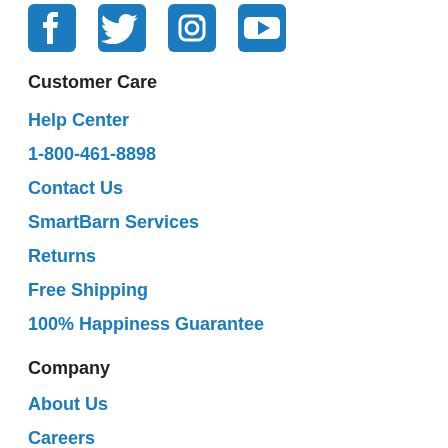[Figure (illustration): Social media icons: Facebook, Twitter, Instagram, YouTube in blue]
Customer Care
Help Center
1-800-461-8898
Contact Us
SmartBarn Services
Returns
Free Shipping
100% Happiness Guarantee
Company
About Us
Careers